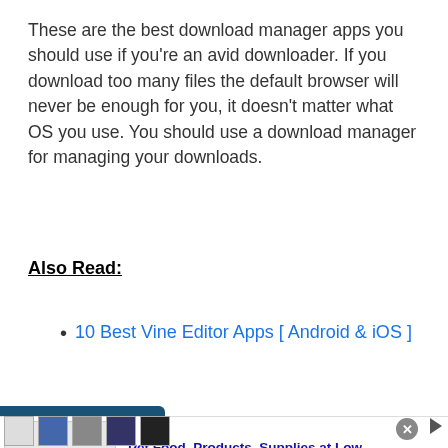These are the best download manager apps you should use if you're an avid downloader. If you download too many files the default browser will never be enough for you, it doesn't matter what OS you use. You should use a download manager for managing your downloads.
Also Read:
10 Best Vine Editor Apps [ Android & iOS ]
[Figure (other): Infolinks advertisement banner for Chewy.com - Pet Food, Products, Supplies at Low Prices]
Pet Food, Products, Supplies at Low Prices -
Pay the lowest prices on pet supplies at Chewy.com
chewy.com